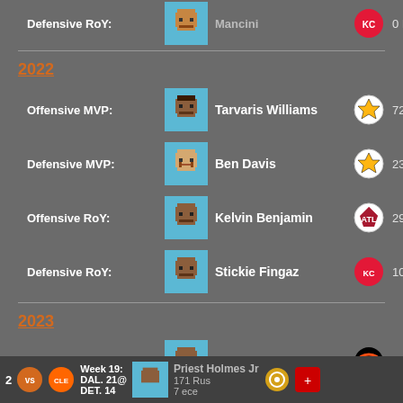Defensive RoY: Mancini — 0 INTs
2022
Offensive MVP: Tarvaris Williams (Steelers) — 72 Rece
Defensive MVP: Ben Davis (Steelers) — 23 Sack
Offensive RoY: Kelvin Benjamin (Falcons) — 29 Rece
Defensive RoY: Stickie Fingaz (Chiefs) — 10 INTs
2023
Offensive MVP: Sammy Watkins (Bengals) — 66 Rece
Defensive MVP: Stickie Fingaz (Chiefs) — 15 INTs
Offensive RoY: Priest Holmes Jr — 171 Rus / 7 ece
2 | vs | Week 19: DAL. 21@ DET. 14 | Priest Holmes Jr | 171 Rus / 7 ece